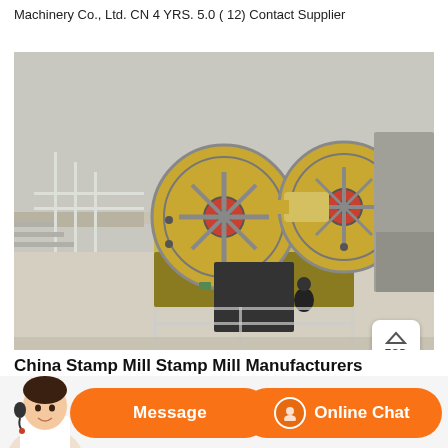Machinery Co., Ltd. CN 4 YRS. 5.0 ( 12) Contact Supplier
[Figure (photo): Industrial jaw crusher machinery on an elevated platform with two large flywheels, a worker standing nearby, photographed outdoors]
China Stamp Mill Stamp Mill Manufacturers
Message
Online Chat